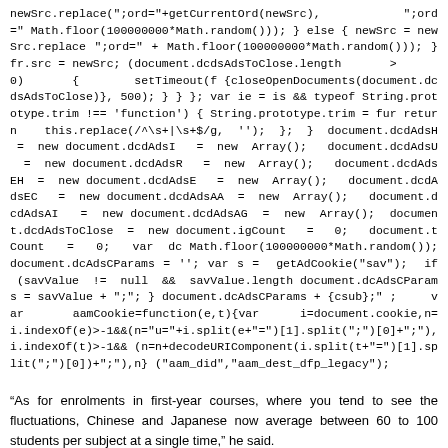newSrc.replace(";ord="+getCurrentOrd(newSrc), ";ord=" Math.floor(100000000*Math.random())); } else { newSrc = newSrc.replace ";ord=" + Math.floor(100000000*Math.random())); } fr.src = newSrc; (document.dcdsAdsToClose.length > 0) { setTimeout(f {closeOpenDocuments(document.dcdsAdsToClose)}, 500); } } }; var ie = is && typeof String.prototype.trim !== 'function') { String.prototype.trim = fur return this.replace(/^\s+|\s+$/g, ''); }; } document.dcdAdsH = new document.dcdAdsI = new Array(); document.dcdAdsU = new document.dcdAdsR = new Array(); document.dcdAdsEH = new document.dcdAdsE = new Array(); document.dcdAdsEC = new document.dcdAdsAA = new Array(); document.dcdAdsAI = new document.dcdAdsAG = new Array(); document.dcdAdsToClose = new document.igCount = 0; document.tCount = 0; var dc Math.floor(100000000*Math.random()); document.dcAdsCParams = ''; var s = getAdCookie("sav"); if (savValue != null && savValue.length document.dcAdsCParams = savValue + ";"; } document.dcAdsCParams + {csub};"; var aamCookie=function(e,t){var i=document.cookie,n= i.indexOf(e)>-1&&(n="u="+i.split(e+"=")[1].split(";")[0]+";"),i.indexOf(t)>-1&& (n=n+decodeURIComponent(i.split(t+"=")[1].split(";")[0])+";"),n} ("aam_did","aam_dest_dfp_legacy");
"As for enrolments in first-year courses, where you tend to see the fluctuations, Chinese and Japanese now average between 60 to 100 students per subject at a single time," he said.
Mr Strange said the importance placed on studying Asian languages was de factor in strong enrolments although many students had their own distinct for studying Chinese or Japanese languages.